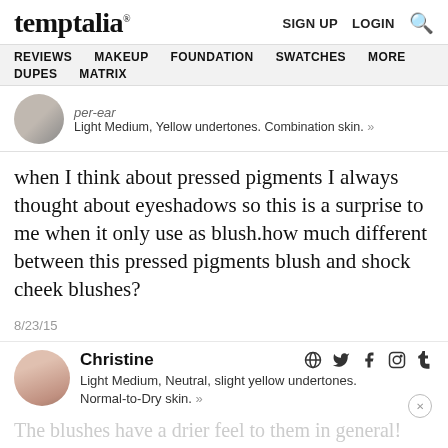temptalia® — SIGN UP  LOGIN  🔍
REVIEWS  MAKEUP  FOUNDATION  SWATCHES  MORE  DUPES  MATRIX
per-ear
Light Medium, Yellow undertones. Combination skin. »
when I think about pressed pigments I always thought about eyeshadows so this is a surprise to me when it only use as blush.how much different between this pressed pigments blush and shock cheek blushes?
8/23/15
Christine
Light Medium, Neutral, slight yellow undertones.
Normal-to-Dry skin. »
The blushes have a drier feel to them in general!